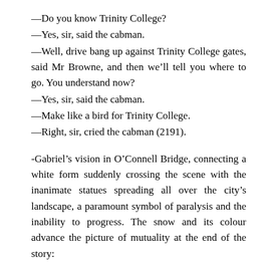—Do you know Trinity College?
—Yes, sir, said the cabman.
—Well, drive bang up against Trinity College gates, said Mr Browne, and then we'll tell you where to go. You understand now?
—Yes, sir, said the cabman.
—Make like a bird for Trinity College.
—Right, sir, cried the cabman (2191).
-Gabriel's vision in O'Connell Bridge, connecting a white form suddenly crossing the scene with the inanimate statues spreading all over the city's landscape, a paramount symbol of paralysis and the inability to progress. The snow and its colour advance the picture of mutuality at the end of the story:
As the cab drove across O'Connell Bridge Miss